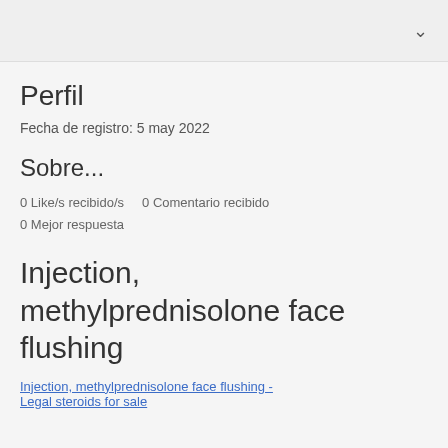Perfil
Fecha de registro: 5 may 2022
Sobre...
0 Like/s recibido/s   0 Comentario recibido
0 Mejor respuesta
Injection, methylprednisolone face flushing
Injection, methylprednisolone face flushing - Legal steroids for sale